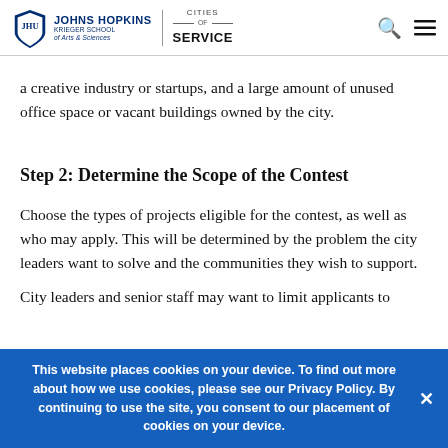Johns Hopkins | Cities of Service
a creative industry or startups, and a large amount of unused office space or vacant buildings owned by the city.
Step 2: Determine the Scope of the Contest
Choose the types of projects eligible for the contest, as well as who may apply. This will be determined by the problem the city leaders want to solve and the communities they wish to support.
City leaders and senior staff may want to limit applicants to
This website places cookies on your device. To find out more about how we use cookies, please see our Privacy Policy. By continuing to use the site, you consent to our placement of cookies on your device.